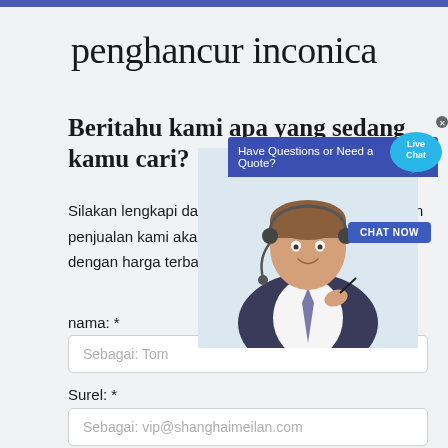penghancur inconica
Beritahu kami apa yang sedang kamu cari?
Silakan lengkapi dan kirimkan formulir berikut dan tim penjualan kami akan segera menghubungi Anda dengan harga terbaik kami.
nama: *
Sebagai: Tom
Surel: *
Sebagai: vip@shanghaimeilan.com